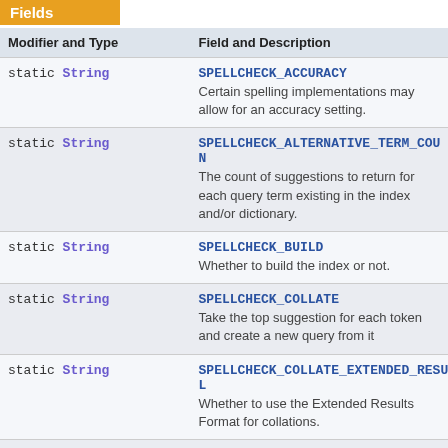Fields
| Modifier and Type | Field and Description |
| --- | --- |
| static String | SPELLCHECK_ACCURACY
Certain spelling implementations may allow for an accuracy setting. |
| static String | SPELLCHECK_ALTERNATIVE_TERM_COUNT
The count of suggestions to return for each query term existing in the index and/or dictionary. |
| static String | SPELLCHECK_BUILD
Whether to build the index or not. |
| static String | SPELLCHECK_COLLATE
Take the top suggestion for each token and create a new query from it |
| static String | SPELLCHECK_COLLATE_EXTENDED_RESULTS
Whether to use the Extended Results Format for collations. |
| static String | SPELLCHECK_COLLATE_MAX_COLLECT_... |